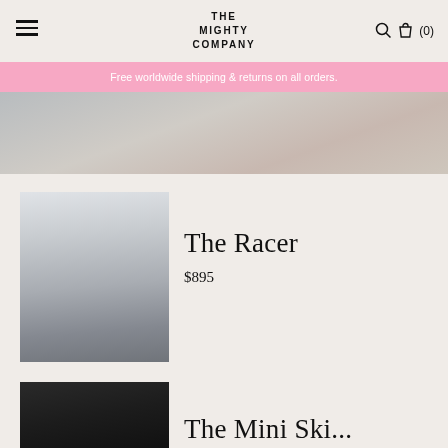THE MIGHTY COMPANY — navigation header with hamburger menu, logo, search, bag, and cart (0)
Free worldwide shipping & returns on all orders.
[Figure (photo): Partial hero image, cropped view of female model lower body against light blue/grey background]
[Figure (photo): Female model with curly hair wearing black leather racer jacket and dark bottoms against light grey background]
The Racer
$895
[Figure (photo): Female model with curly hair wearing black leather outfit, partially visible, cropped at bottom of page]
The Mini Ski...